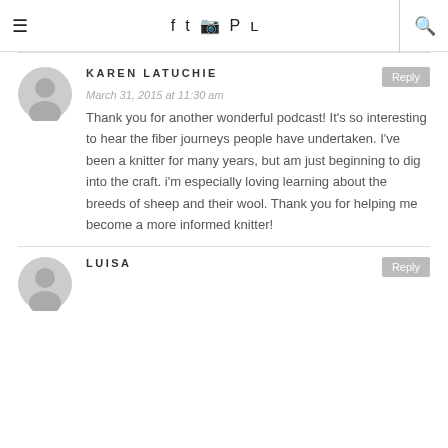≡  f  ✓  ⊙  ⊛  )))  🔍
KAREN LATUCHIE
March 31, 2015 at 11:30 am
Thank you for another wonderful podcast! It's so interesting to hear the fiber journeys people have undertaken. I've been a knitter for many years, but am just beginning to dig into the craft. i'm especially loving learning about the breeds of sheep and their wool. Thank you for helping me become a more informed knitter!
LUISA